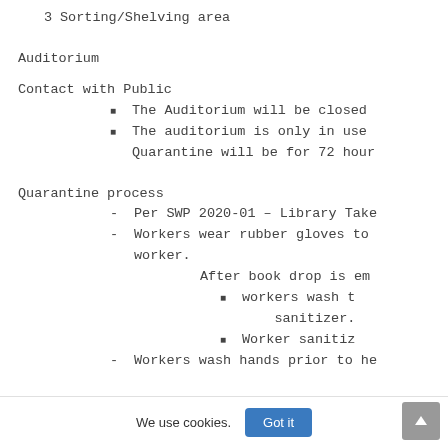3    Sorting/Shelving area
Auditorium
Contact with Public
The Auditorium will be closed
The auditorium is only in use
Quarantine will be for 72 hour
Quarantine process
Per SWP 2020-01 – Library Take
Workers wear rubber gloves to worker.
After book drop is em
workers wash t sanitizer.
Worker sanitiz
Workers wash hands prior to he